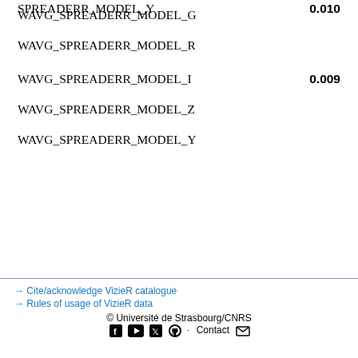SPREADERR_MODEL_Y  0.010
WAVG_SPREADERR_MODEL_G
WAVG_SPREADERR_MODEL_R
WAVG_SPREADERR_MODEL_I  0.009
WAVG_SPREADERR_MODEL_Z
WAVG_SPREADERR_MODEL_Y
→ Cite/acknowledge VizieR catalogue
→ Rules of usage of VizieR data
© Université de Strasbourg/CNRS
Contact